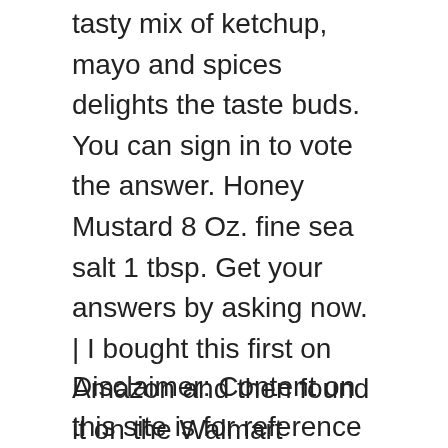tasty mix of ketchup, mayo and spices delights the taste buds. You can sign in to vote the answer. Honey Mustard 8 Oz. fine sea salt 1 tbsp. Get your answers by asking now. | I bought this first on Amazon and then found it on the Walmart app.....so much cheaper at Walmart and the shipping was faster than Amazon as well. Add bold flavor to your favorite foods with this Red Robin Sauce. As of 2019, Red Robin has over 560 locations in North America according to Wikipedia. Mar 26, 2017 - Free delivery and returns on eligible orders. It tastes great with onion rings, fries, and chicken strips or nuggets. We're having technical issues, but we'll be back in a flash. paprika 1 tbsp.
Disclaimer: Content on this site is for reference